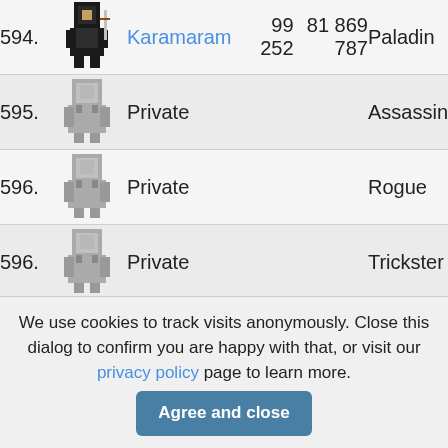| Rank | Avatar | Name | Level | EXP | Class |
| --- | --- | --- | --- | --- | --- |
| 594. |  | Karamaram | 99 252 | 81 869 787 | Paladin |
| 595. |  | Private |  |  | Assassin |
| 596. |  | Private |  |  | Rogue |
| 596. |  | Private |  |  | Trickster |
| 598. |  | RangerBG | 98 884 | 196 390 389 | Warrior |
We use cookies to track visits anonymously. Close this dialog to confirm you are happy with that, or visit our privacy policy page to learn more.